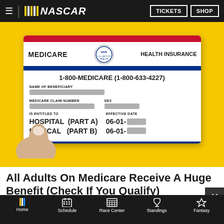NASCAR | TICKETS | SHOP
[Figure (photo): A hand holding a Medicare Health Insurance card against a yellow background. The card shows: MEDICARE HEALTH INSURANCE, 1-800-MEDICARE (1-800-633-4227), NAME OF BENEFICIARY (blurred), MEDICARE CLAIM NUMBER (blurred), SEX (blurred), IS ENTITLED TO: HOSPITAL (PART A) 06-01-[blurred], MEDICAL (PART B) 06-01-[blurred], EFFECTIVE DATE]
All Adults On Medicare Receive A Huge Benefit (Check If You Qualify)
[Figure (screenshot): NASCAR advertisement banner: NASCAR logo with BUY TICKETS! button, racing car image, and text YOU'VE GOTTA BE THERE!]
Home | Schedule | Race Center | Standings | Fantasy